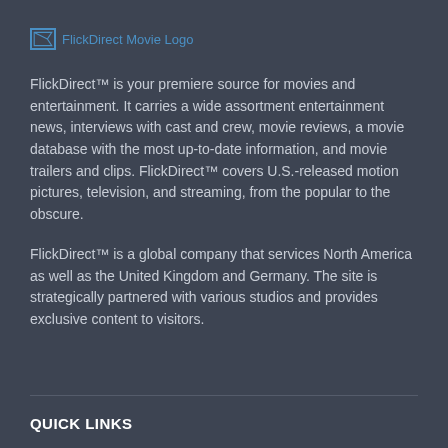[Figure (logo): FlickDirect Movie Logo — image placeholder with blue link text]
FlickDirect™ is your premiere source for movies and entertainment. It carries a wide assortment entertainment news, interviews with cast and crew, movie reviews, a movie database with the most up-to-date information, and movie trailers and clips. FlickDirect™ covers U.S.-released motion pictures, television, and streaming, from the popular to the obscure.
FlickDirect™ is a global company that services North America as well as the United Kingdom and Germany. The site is strategically partnered with various studios and provides exclusive content to visitors.
QUICK LINKS